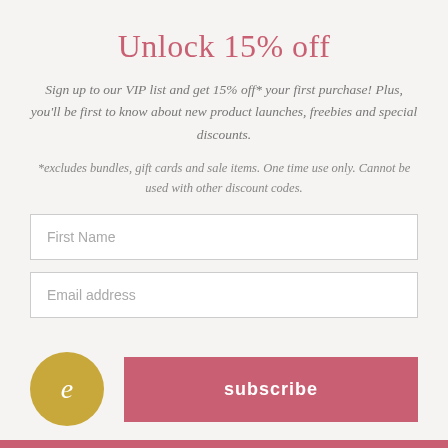Unlock 15% off
Sign up to our VIP list and get 15% off* your first purchase! Plus, you'll be first to know about new product launches, freebies and special discounts.
*excludes bundles, gift cards and sale items. One time use only. Cannot be used with other discount codes.
First Name
Email address
[Figure (logo): Gold circle with italic letter e in white]
subscribe